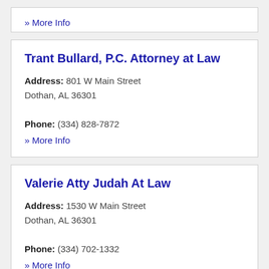» More Info
Trant Bullard, P.C. Attorney at Law
Address: 801 W Main Street Dothan, AL 36301 Phone: (334) 828-7872
» More Info
Valerie Atty Judah At Law
Address: 1530 W Main Street Dothan, AL 36301 Phone: (334) 702-1332
» More Info